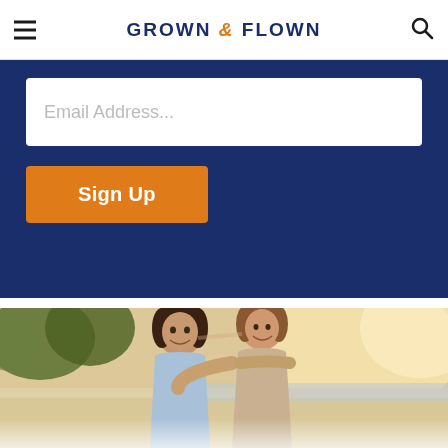GROWN & FLOWN
Email Address...
Sign Up
[Figure (photo): A mother hugging her teenage daughter from behind on a sandy beach at golden hour. Both are smiling. The mother is wearing a beige outfit, the daughter a light blue top. Trees and a body of water visible in the background.]